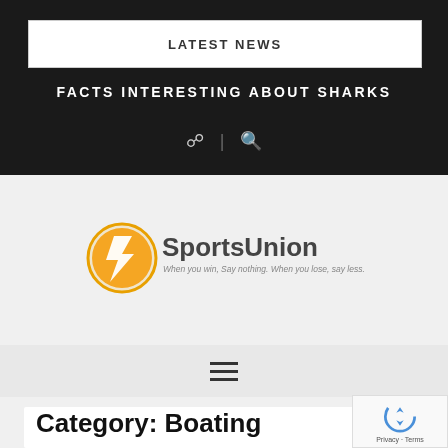LATEST NEWS
FACTS INTERESTING ABOUT SHARKS
[Figure (logo): SportsUnion logo with orange circular icon and text 'SportsUnion' with tagline 'When you win, Say nothing. When you lose, say less.']
Category: Boating